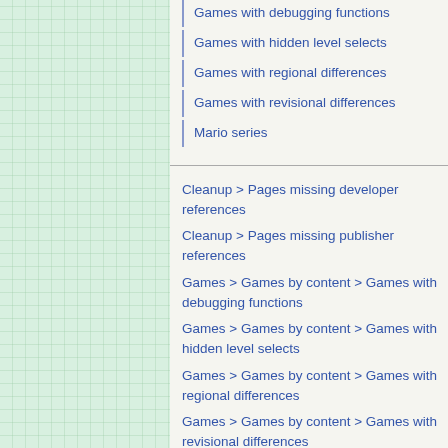Games with debugging functions
Games with hidden level selects
Games with regional differences
Games with revisional differences
Mario series
Cleanup > Pages missing developer references
Cleanup > Pages missing publisher references
Games > Games by content > Games with debugging functions
Games > Games by content > Games with hidden level selects
Games > Games by content > Games with regional differences
Games > Games by content > Games with revisional differences
Games > Games by content > Games with unused areas